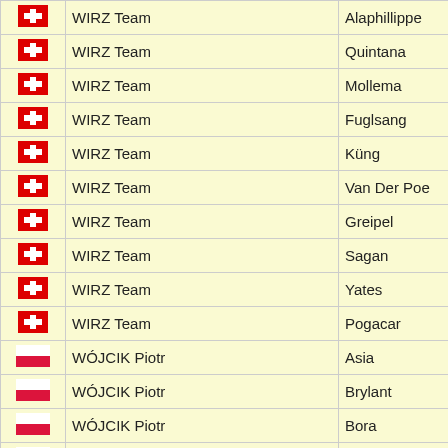| Flag | Manager | Rider |
| --- | --- | --- |
| 🇨🇭 | WIRZ Team | Alaphillippe |
| 🇨🇭 | WIRZ Team | Quintana |
| 🇨🇭 | WIRZ Team | Mollema |
| 🇨🇭 | WIRZ Team | Fuglsang |
| 🇨🇭 | WIRZ Team | Küng |
| 🇨🇭 | WIRZ Team | Van Der Poe |
| 🇨🇭 | WIRZ Team | Greipel |
| 🇨🇭 | WIRZ Team | Sagan |
| 🇨🇭 | WIRZ Team | Yates |
| 🇨🇭 | WIRZ Team | Pogacar |
| 🇵🇱 | WÓJCIK Piotr | Asia |
| 🇵🇱 | WÓJCIK Piotr | Brylant |
| 🇵🇱 | WÓJCIK Piotr | Bora |
| 🇵🇱 | WÓJCIK Piotr | Black |
| 🇵🇱 | WÓJCIK Piotr | Bull |
| 🇩🇪 | WOLTERINK Gerald | Gerald 519 |
| 🇩🇪 | WOLTERINK Gerald | Gerald 536 |
| 🇵🇱 | WRÓBEL Michal & Patryk "B" | Harry |
| 🇵🇱 | WRÓBEL Michal & Patryk "C" | Ayumi |